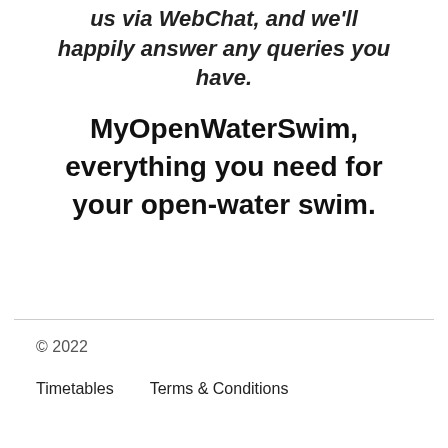us via WebChat, and we'll happily answer any queries you have.
MyOpenWaterSwim, everything you need for your open-water swim.
© 2022
Timetables   Terms & Conditions